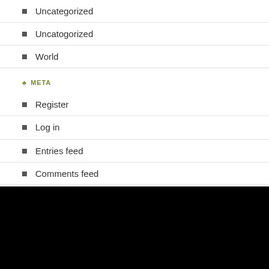Uncategorized
Uncatogorized
World
♣ META
Register
Log in
Entries feed
Comments feed
WordPress.com